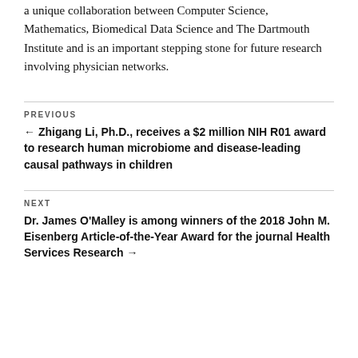a unique collaboration between Computer Science, Mathematics, Biomedical Data Science and The Dartmouth Institute and is an important stepping stone for future research involving physician networks.
PREVIOUS
← Zhigang Li, Ph.D., receives a $2 million NIH R01 award to research human microbiome and disease-leading causal pathways in children
NEXT
Dr. James O'Malley is among winners of the 2018 John M. Eisenberg Article-of-the-Year Award for the journal Health Services Research →